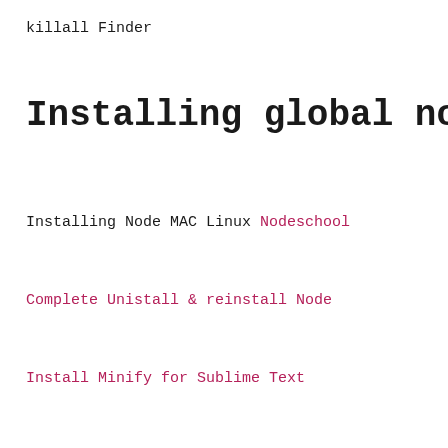killall Finder
Installing global node
Installing Node MAC Linux Nodeschool
Complete Unistall & reinstall Node
Install Minify for Sublime Text